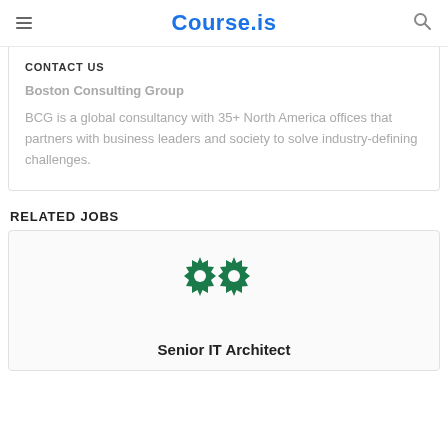Course.is
CONTACT US
Boston Consulting Group
BCG is a global consultancy with 35+ North America offices that partners with business leaders and society to solve industry-defining challenges.
RELATED JOBS
[Figure (logo): Green gear/cog icon logo for a company]
Senior IT Architect